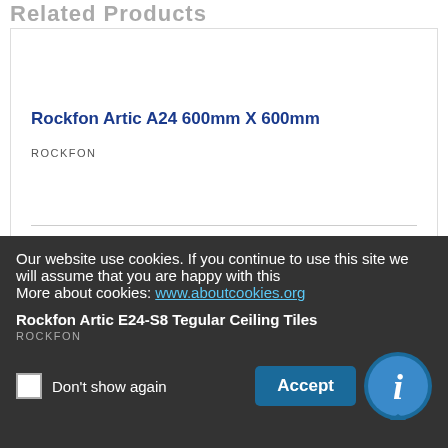Related Products
Rockfon Artic A24 600mm X 600mm
ROCKFON
£52.00
Add To Cart
Our website use cookies. If you continue to use this site we will assume that you are happy with this
More about cookies: www.aboutcookies.org
Rockfon Artic E24-S8 Tegular Ceiling Tiles
ROCKFON
Don't show again
Accept